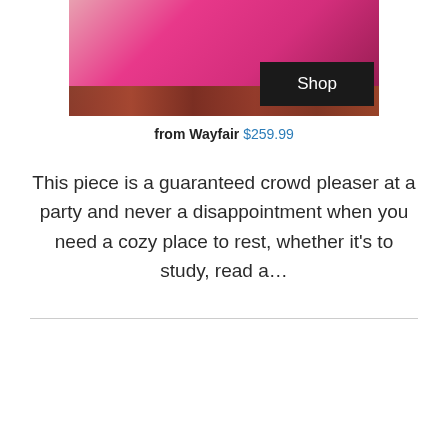[Figure (photo): A child sitting on a large pink/hot-pink bean bag chair on a wood floor, with a black 'Shop' button overlay in the bottom right corner.]
from Wayfair $259.99
This piece is a guaranteed crowd pleaser at a party and never a disappointment when you need a cozy place to rest, whether it’s to study, read a...